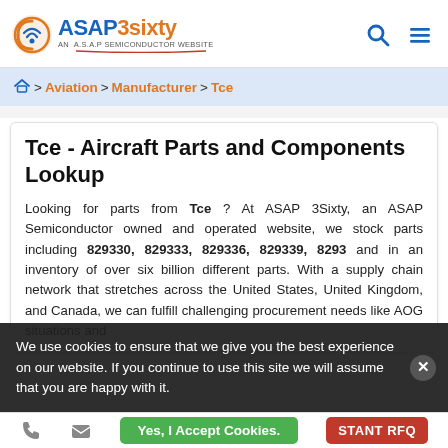ASAP3sixty — AN A.S.A.P SEMICONDUCTOR WEBSITE
Home > Aviation > Manufacturer > Tce
Tce - Aircraft Parts and Components Lookup
Looking for parts from Tce ? At ASAP 3Sixty, an ASAP Semiconductor owned and operated website, we stock parts including 829330, 829333, 829336, 829339, 8293 and in an inventory of over six billion different parts. With a supply chain network that stretches across the United States, United Kingdom, and Canada, we can fulfill challenging procurement needs like AOG situations and obsolete parts requirements. You can submit an Instant RFQ from this page, and one of our account managers will respond to it within fifteen minutes.
We use cookies to ensure that we give you the best experience on our website. If you continue to use this site we will assume that you are happy with it.